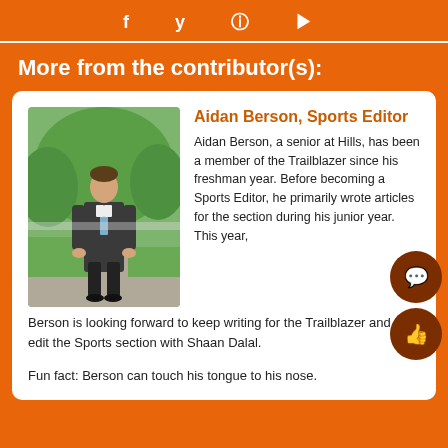f  𝕏  ⊙  ▶
More from the contributor(s):
[Figure (photo): Photo of Aidan Berson, a young man in a dark suit standing outdoors on a driveway with green trees in the background.]
Aidan Berson, Sports Editor
Aidan Berson, a senior at Hills, has been a member of the Trailblazer since his freshman year. Before becoming a Sports Editor, he primarily wrote articles for the section during his junior year. This year, Berson is looking forward to keep writing for the Trailblazer and to edit the Sports section with Shaan Dalal.

Fun fact: Berson can touch his tongue to his nose.